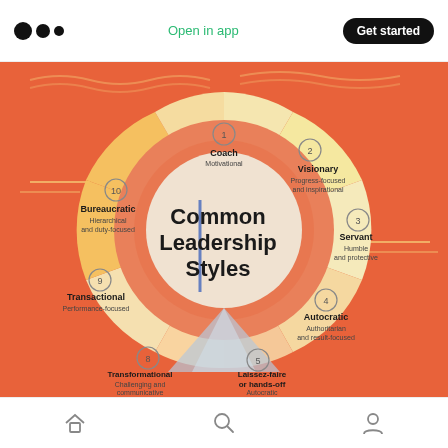Open in app | Get started
[Figure (infographic): Circular diagram showing 10 Common Leadership Styles numbered 1-10 arranged around a central circle. Center text reads 'Common Leadership Styles'. Styles: 1-Coach (Motivational), 2-Visionary (Progress-focused and inspirational), 3-Servant (Humble and protective), 4-Autocratic (Authoritarian and result-focused), 5-Laissez-faire or hands-off (Autocratic), 8-Transformational (Challenging and communicative), 9-Transactional (Performance-focused), 10-Bureaucratic (Hierarchical and duty-focused). Background is orange/coral with decorative mountain and cloud motifs.]
Home | Search | Profile